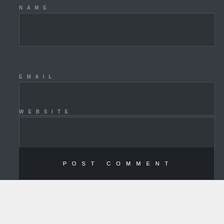NAME
[Figure (screenshot): Empty text input field for Name]
EMAIL
[Figure (screenshot): Empty text input field for Email]
WEBSITE
[Figure (screenshot): Empty text input field for Website]
POST COMMENT
Advertisements
[Figure (screenshot): Jetpack advertisement banner with green background showing Jetpack logo and 'Back up your site' button]